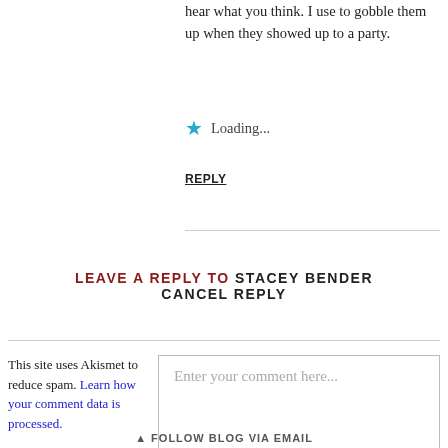hear what you think. I use to gobble them up when they showed up to a party.
★  Loading...
REPLY
LEAVE A REPLY TO STACEY BENDER CANCEL REPLY
This site uses Akismet to reduce spam. Learn how your comment data is processed.
Enter your comment here...
▲ FOLLOW BLOG VIA EMAIL